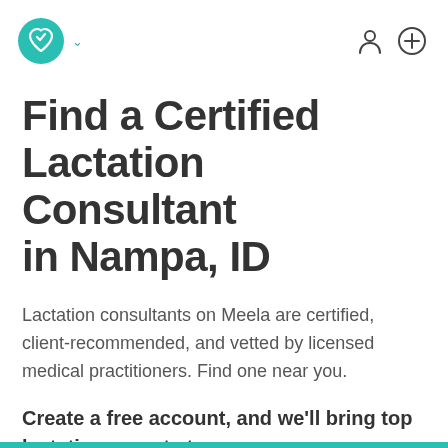Meela logo with navigation icons
Find a Certified Lactation Consultant in Nampa, ID
Lactation consultants on Meela are certified, client-recommended, and vetted by licensed medical practitioners. Find one near you.
Create a free account, and we'll bring top lactation experts to you.